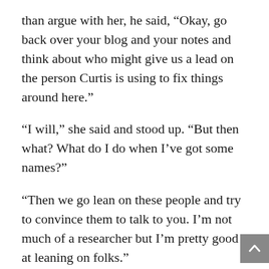than argue with her, he said, “Okay, go back over your blog and your notes and think about who might give us a lead on the person Curtis is using to fix things around here.”
“I will,” she said and stood up. “But then what? What do I do when I’ve got some names?”
“Then we go lean on these people and try to convince them to talk to you. I’m not much of a researcher but I’m pretty good at leaning on folks.”
“You’ll go with me? Seriously?”
“Yeah. For a while. I mean, I have a job in D.C. I need to get back to, but I’ll give this a few more days.” Sarah marched out of the restaurant like a woman on a